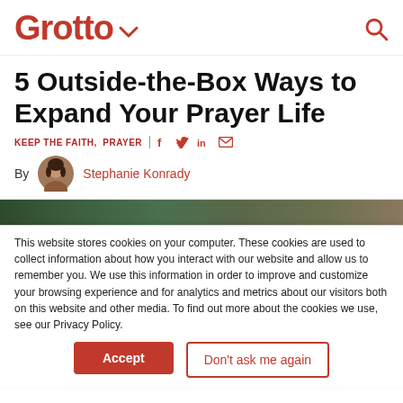Grotto
5 Outside-the-Box Ways to Expand Your Prayer Life
KEEP THE FAITH,  PRAYER
By Stephanie Konrady
[Figure (photo): Partial outdoor nature image strip showing green foliage]
This website stores cookies on your computer. These cookies are used to collect information about how you interact with our website and allow us to remember you. We use this information in order to improve and customize your browsing experience and for analytics and metrics about our visitors both on this website and other media. To find out more about the cookies we use, see our Privacy Policy.
Accept
Don't ask me again